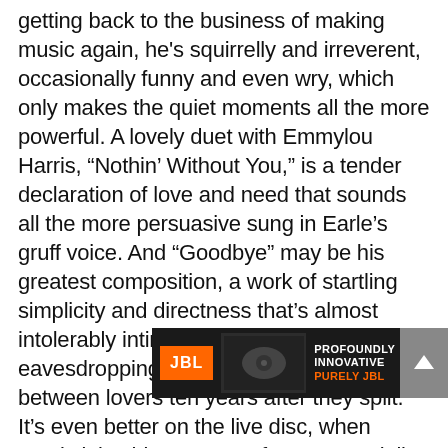...getting back to the business of making music again, he's squirrelly and irreverent, occasionally funny and even wry, which only makes the quiet moments all the more powerful. A lovely duet with Emmylou Harris, “Nothin’ Without You,” is a tender declaration of love and need that sounds all the more persuasive sung in Earle’s gruff voice. And “Goodbye” may be his greatest composition, a work of startling simplicity and directness that’s almost intolerably intimate. Listening to it is like eavesdropping on a sad last phone call between lovers ten years after they split. It’s even better on the live disc, when Harris joins him on stage for an especially aggrieved performance. Having someone sing the song with him may dispel its lone...to apolog...
[Figure (other): JBL advertisement banner: 'Profoundly Innovative Purely JBL' with EON700 series branding, orange and white text on dark background, with close button]